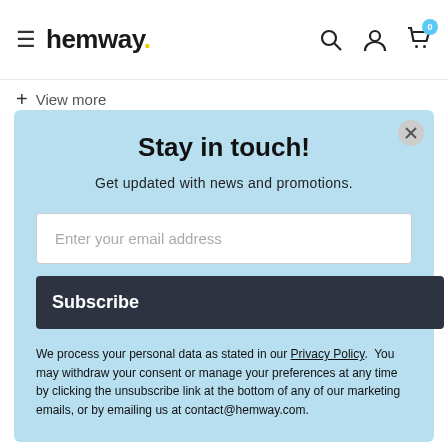hemway. [hamburger menu, search, account, cart icons]
+ View more
Stay in touch!
Get updated with news and promotions.
Enter your email address
Subscribe
We process your personal data as stated in our Privacy Policy. You may withdraw your consent or manage your preferences at any time by clicking the unsubscribe link at the bottom of any of our marketing emails, or by emailing us at contact@hemway.com.